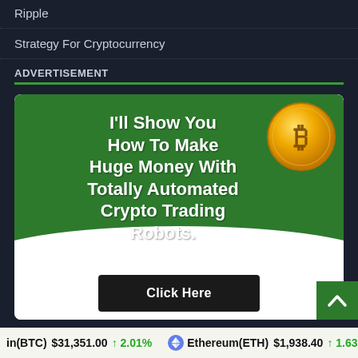Ripple
Strategy For Cryptocurrency
ADVERTISEMENT
[Figure (infographic): Advertisement banner for crypto trading robots. Green background with Bitcoin coin graphic. Text: I'll Show You How To Make Huge Money With Totally Automated Crypto Trading Robots. White bottom section with 'Click Here' button.]
in(BTC) $31,351.00 ↑ 2.01% Ethereum(ETH) $1,938.40 ↑ 1.63%